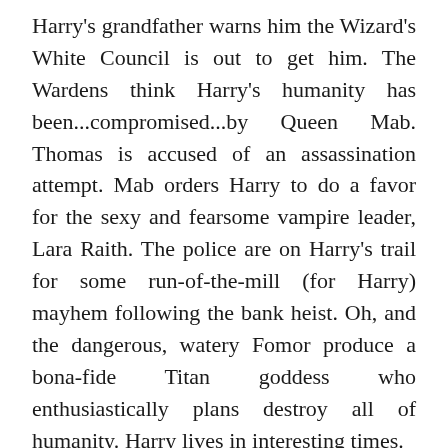Harry's grandfather warns him the Wizard's White Council is out to get him. The Wardens think Harry's humanity has been...compromised...by Queen Mab. Thomas is accused of an assassination attempt. Mab orders Harry to do a favor for the sexy and fearsome vampire leader, Lara Raith. The police are on Harry's trail for some run-of-the-mill (for Harry) mayhem following the bank heist. Oh, and the dangerous, watery Fomor produce a bona-fide Titan goddess who enthusiastically plans destroy all of humanity. Harry lives in interesting times.
Honestly, I've been both longing for and dreading a new Harry adventure. Dread almost won out: what if Butcher lost Harry's mojo? What if Harry wasn't, well, Harry? What if the plot got pretentious? Or moribund, like so many series that drag on past their prime? Essentially, what if the book sucked? I refused to read Peace Talks for a few weeks, I was that worried.